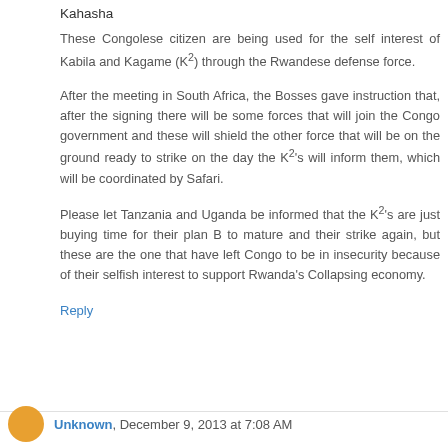Kahasha
These Congolese citizen are being used for the self interest of Kabila and Kagame (K²) through the Rwandese defense force.
After the meeting in South Africa, the Bosses gave instruction that, after the signing there will be some forces that will join the Congo government and these will shield the other force that will be on the ground ready to strike on the day the K²'s will inform them, which will be coordinated by Safari.
Please let Tanzania and Uganda be informed that the K²'s are just buying time for their plan B to mature and their strike again, but these are the one that have left Congo to be in insecurity because of their selfish interest to support Rwanda's Collapsing economy.
Reply
Unknown, December 9, 2013 at 7:08 AM